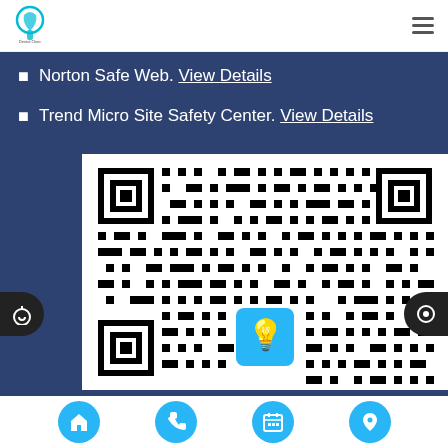Dental clinic logo and navigation menu
Norton Safe Web. View Details
Trend Micro Site Safety Center. View Details
[Figure (other): QR code with a dental/lightbulb icon in the center, black and white pattern on white background]
Navigation icons: home, phone, calendar, location